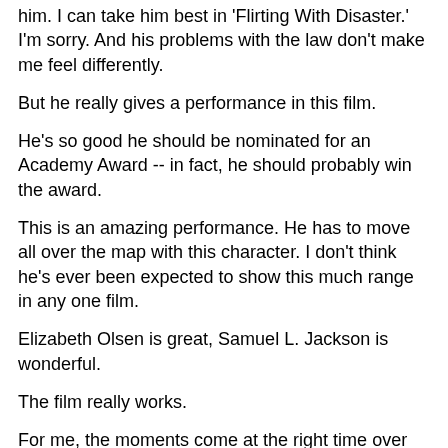him. I can take him best in 'Flirting With Disaster.' I'm sorry. And his problems with the law don't make me feel differently.
But he really gives a performance in this film.
He's so good he should be nominated for an Academy Award -- in fact, he should probably win the award.
This is an amazing performance. He has to move all over the map with this character. I don't think he's ever been expected to show this much range in any one film.
Elizabeth Olsen is great, Samuel L. Jackson is wonderful.
The film really works.
For me, the moments come at the right time over and over. The tension Spike's captured to keep you focused, the pacing is just amazing and so much of that is done with the camera.
It cuts to...that blanc the point...